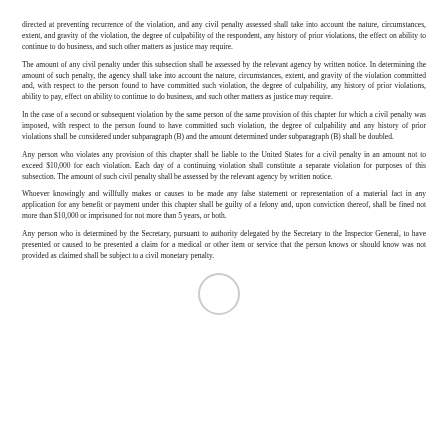directed at preventing recurrence of the violation, and any civil penalty assessed shall take into account the nature, circumstances, extent, and gravity of the violation, the degree of culpability of the respondent, any history of prior violations, the effect on ability to continue to do business, and such other matters as justice may require.
The amount of any civil penalty under this subsection shall be assessed by the relevant agency by written notice. In determining the amount of such penalty, the agency shall take into account the nature, circumstances, extent, and gravity of the violation committed and, with respect to the person found to have committed such violation, the degree of culpability, any history of prior violations, ability to pay, effect on ability to continue to do business, and such other matters as justice may require.
In the case of a second or subsequent violation by the same person of the same provision of this chapter for which a civil penalty was imposed, with respect to the person found to have committed such violation, the degree of culpability and any history of prior violations shall be considered under subparagraph (B) and the amount determined under subparagraph (B) shall be doubled.
[Figure (other): A small circle outline mark, possibly a stamp or annotation mark, positioned in the center-right area of the page.]
Any person who violates any provision of this chapter shall be liable to the United States for a civil penalty in an amount not to exceed $10,000 for each violation. Each day of a continuing violation shall constitute a separate violation for purposes of this subsection. The amount of such civil penalty shall be assessed by the relevant agency by written notice.
Whoever knowingly and willfully makes or causes to be made any false statement or representation of a material fact in any application for any benefit or payment under this chapter shall be guilty of a felony and, upon conviction thereof, shall be fined not more than $10,000 or imprisoned for not more than 5 years, or both.
Any person who is determined by the Secretary, pursuant to authority delegated by the Secretary to the Inspector General, to have presented or caused to be presented a claim for a medical or other item or service that the person knows or should know was not provided as claimed shall be subject to a civil monetary penalty.